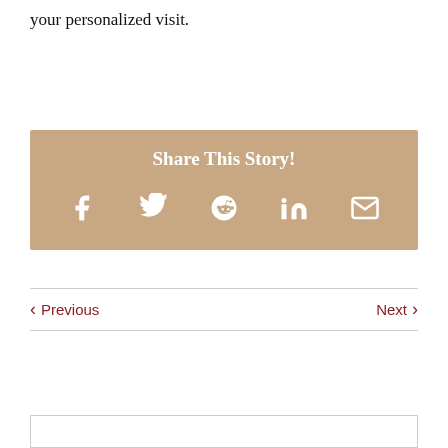your personalized visit.
[Figure (infographic): Share This Story social sharing box with tan/beige background containing title 'Share This Story!' and icons for Facebook, Twitter, Reddit, LinkedIn, and Email]
< Previous    Next >